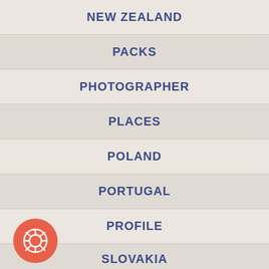NEW ZEALAND
PACKS
PHOTOGRAPHER
PLACES
POLAND
PORTUGAL
PROFILE
SLOVAKIA
[Figure (illustration): Red circular help/lifesaver button icon in bottom left corner]